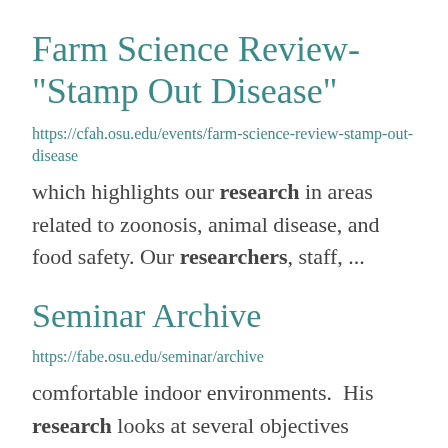Farm Science Review- "Stamp Out Disease"
https://cfah.osu.edu/events/farm-science-review-stamp-out-disease
which highlights our research in areas related to zoonosis, animal disease, and food safety. Our researchers, staff, ...
Seminar Archive
https://fabe.osu.edu/seminar/archive
comfortable indoor environments.  His research looks at several objectives including reducing energy use and ... ASHRAE Standard 62.1 for Commercial